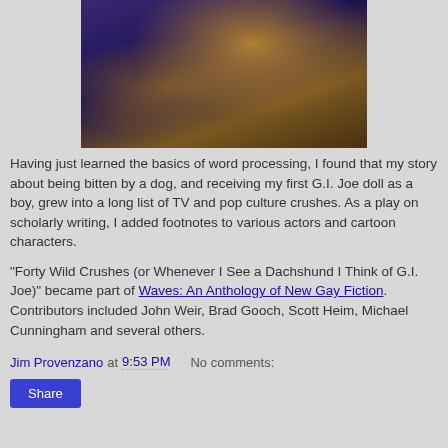[Figure (photo): A man in a blue suit with a brown vest, reclining on a floral patterned surface, looking upward.]
Having just learned the basics of word processing, I found that my story about being bitten by a dog, and receiving my first G.I. Joe doll as a boy, grew into a long list of TV and pop culture crushes. As a play on scholarly writing, I added footnotes to various actors and cartoon characters.
"Forty Wild Crushes (or Whenever I See a Dachshund I Think of G.I. Joe)" became part of Waves: An Anthology of New Gay Fiction. Contributors included John Weir, Brad Gooch, Scott Heim, Michael Cunningham and several others.
Jim Provenzano at 9:53 PM   No comments:
Share